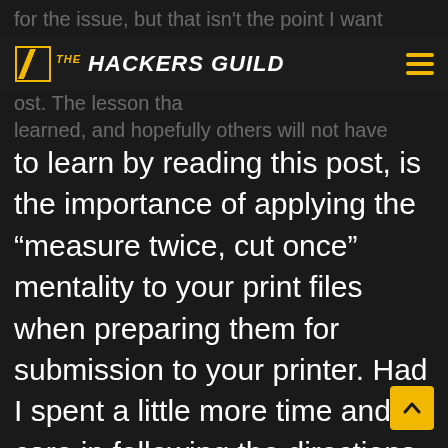for the issue, but that isn't the point I want
[Figure (logo): The Hackers Guild logo with yellow diagonal stripe icon and white bold italic text on dark background, with hamburger menu icon in yellow on the right]
ost. The lesson tha learned, and hopefully others will not have
to learn by reading this post, is the importance of applying the “measure twice, cut once” mentality to your print files when preparing them for submission to your printer. Had I spent a little more time and care in following the directions that I was given by checking, double checking, and even triple checking my files prior to submission, I could have avoided this whole mess.